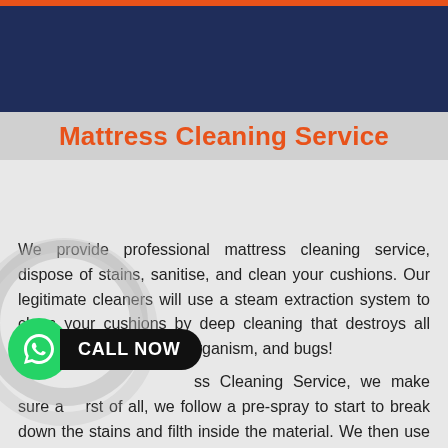Mattress Cleaning Service
We provide professional mattress cleaning service, dispose of stains, sanitise, and clean your cushions. Our legitimate cleaners will use a steam extraction system to clean your cushions by deep cleaning that destroys all sorts of dirt mites, microorganism, and bugs!
ss Cleaning Service, we make sure a rst of all, we follow a pre-spray to start to break down the stains and filth inside the material. We then use an excessive strain